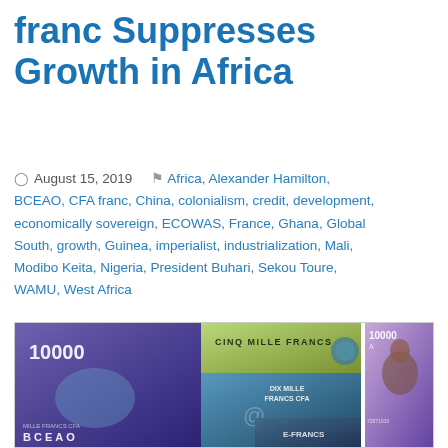franc Suppresses Growth in Africa
August 15, 2019   Africa, Alexander Hamilton, BCEAO, CFA franc, China, colonialism, credit, development, economically sovereign, ECOWAS, France, Ghana, Global South, growth, Guinea, imperialist, industrialization, Mali, Modibo Keita, Nigeria, President Buhari, Sekou Toure, WAMU, West Africa
[Figure (photo): Photo of CFA franc currency banknotes including 10000 franc notes from BCEAO and other denominations arranged overlapping, showing Cinq Mille Francs and Dix Mille Francs CFA notes]